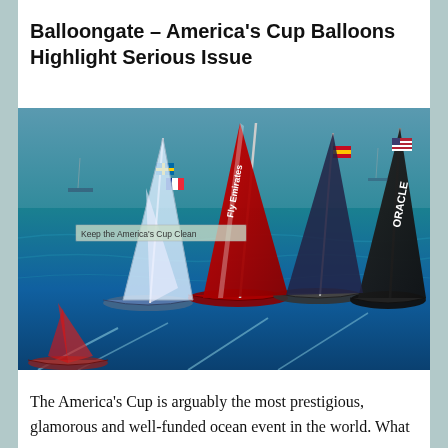Balloongate – America's Cup Balloons Highlight Serious Issue
[Figure (photo): Aerial photograph of multiple racing sailboats competing in the America's Cup on open water. Boats include Fly Emirates and Oracle team vessels with colorful spinnakers and tall masts. A watermark overlay reads 'Keep the America's Cup Clean'.]
The America's Cup is arguably the most prestigious, glamorous and well-funded ocean event in the world. What